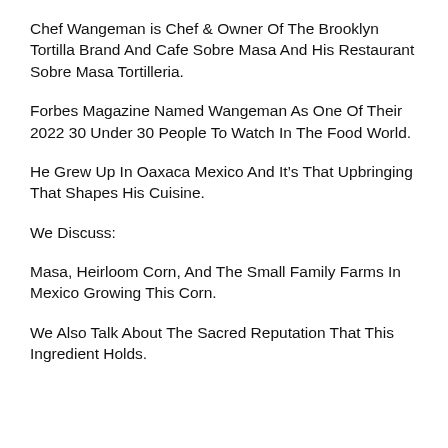Chef Wangeman is Chef & Owner Of The Brooklyn Tortilla Brand And Cafe Sobre Masa And His Restaurant Sobre Masa Tortilleria.
Forbes Magazine Named Wangeman As One Of Their 2022 30 Under 30 People To Watch In The Food World.
He Grew Up In Oaxaca Mexico And It’s That Upbringing That Shapes His Cuisine.
We Discuss:
Masa, Heirloom Corn, And The Small Family Farms In Mexico Growing This Corn.
We Also Talk About The Sacred Reputation That This Ingredient Holds.